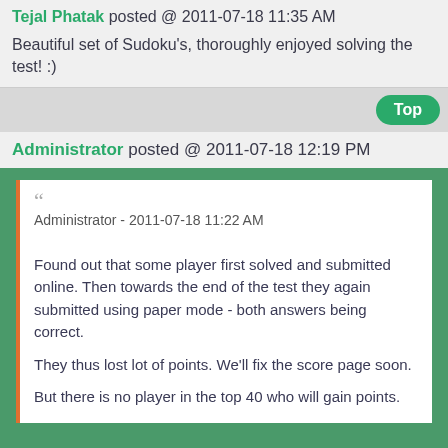Tejal Phatak posted @ 2011-07-18 11:35 AM
Beautiful set of Sudoku's, thoroughly enjoyed solving the test! :)
Administrator posted @ 2011-07-18 12:19 PM
Administrator - 2011-07-18 11:22 AM
Found out that some player first solved and submitted online. Then towards the end of the test they again submitted using paper mode - both answers being correct.

They thus lost lot of points. We'll fix the score page soon.

But there is no player in the top 40 who will gain points.